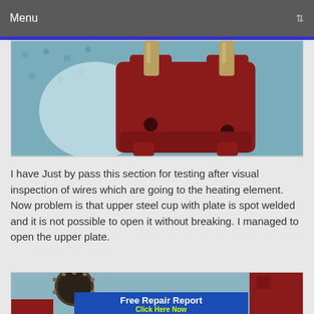Menu
[Figure (photo): Close-up photo of a red plastic component (possibly a valve or connector) with two metallic cylindrical connectors/electrodes on top, placed on a blue patterned surface.]
I have Just by pass this section for testing after visual inspection of wires which are going to the heating element. Now problem is that upper steel cup with plate is spot welded and it is not possible to open it without breaking. I managed to open the upper plate.
[Figure (photo): Photo of a circular steel heating element disc with small bolts/rivets around the rim, placed next to red plastic parts on a blue fabric surface. Overlaid with a blue banner reading 'Free Repair Report' and 'Click Here Now' in yellow-green text.]